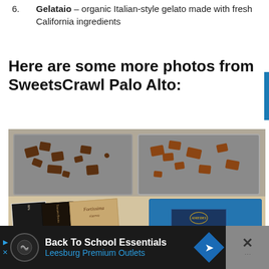6. Gelataio – organic Italian-style gelato made with fresh California ingredients
Here are some more photos from SweetsCrawl Palo Alto:
[Figure (photo): Photo of chocolate bars and chocolate pieces on metal trays. Bottom shows three chocolate bar packages (dark/milk chocolate wrappers including Fortissima) and a blue Amedei chocolate bar box. Top half shows two metal trays with broken chocolate pieces.]
Back To School Essentials
Leesburg Premium Outlets